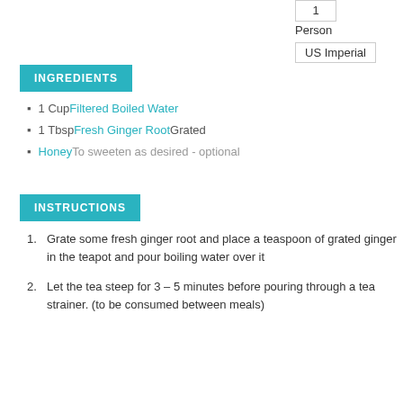1
Person
US Imperial
INGREDIENTS
1 Cup Filtered Boiled Water
1 Tbsp Fresh Ginger Root Grated
Honey To sweeten as desired - optional
INSTRUCTIONS
Grate some fresh ginger root and place a teaspoon of grated ginger in the teapot and pour boiling water over it
Let the tea steep for 3 – 5 minutes before pouring through a tea strainer. (to be consumed between meals)